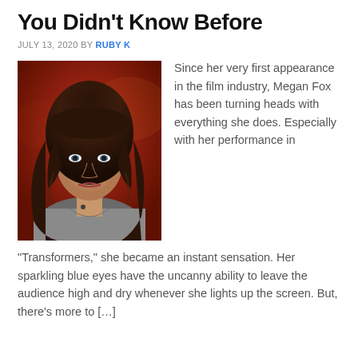You Didn't Know Before
JULY 13, 2020 BY RUBY K
[Figure (photo): Portrait photo of a woman with long dark wavy hair wearing a grey top, photographed against a reddish-warm background.]
Since her very first appearance in the film industry, Megan Fox has been turning heads with everything she does. Especially with her performance in “Transformers,” she became an instant sensation. Her sparkling blue eyes have the uncanny ability to leave the audience high and dry whenever she lights up the screen. But, there’s more to […]